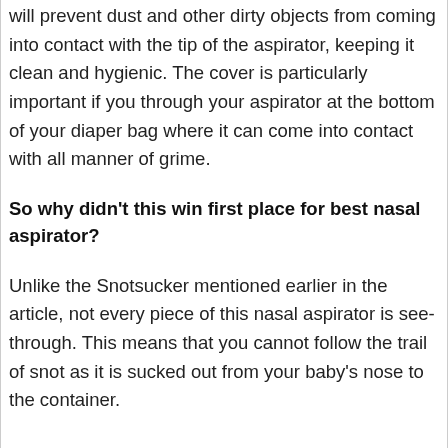This thing is going up your baby's nose! A cover will prevent dust and other dirty objects from coming into contact with the tip of the aspirator, keeping it clean and hygienic. The cover is particularly important if you through your aspirator at the bottom of your diaper bag where it can come into contact with all manner of grime.
So why didn't this win first place for best nasal aspirator?
Unlike the Snotsucker mentioned earlier in the article, not every piece of this nasal aspirator is see-through. This means that you cannot follow the trail of snot as it is sucked out from your baby's nose to the container.